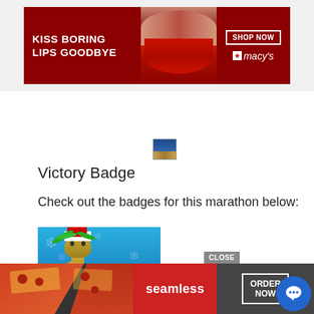[Figure (advertisement): Macy's banner ad: KISS BORING LIPS GOODBYE with red lips photo, SHOP NOW button and Macy's star logo]
[Figure (photo): Small badge icon thumbnail - appears to be a holiday/winter scene]
Victory Badge
Check out the badges for this marathon below:
[Figure (illustration): Holiday tiki character with Santa hat holding a snowflake, colorful blue and pizza background]
[Figure (advertisement): Seamless food delivery ad with pizza slices, seamless logo, ORDER NOW button, and CLOSE button]